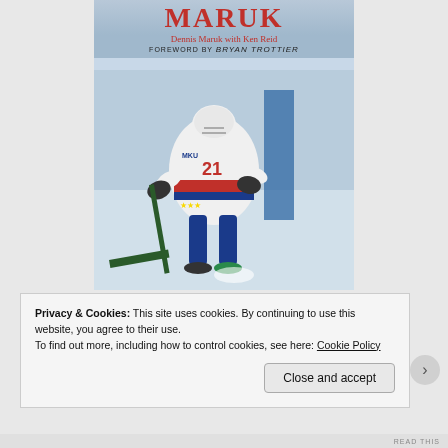[Figure (illustration): Book cover for 'Maruk' by Dennis Maruk with Ken Reid, foreword by Bryan Trottier. Shows a hockey player in a white Washington Capitals-style jersey with red and blue stripes, number 21, skating and handling a hockey stick on the ice.]
Fi•l•i•l (partially visible text behind cookie banner)
Privacy & Cookies: This site uses cookies. By continuing to use this website, you agree to their use.
To find out more, including how to control cookies, see here: Cookie Policy
Close and accept